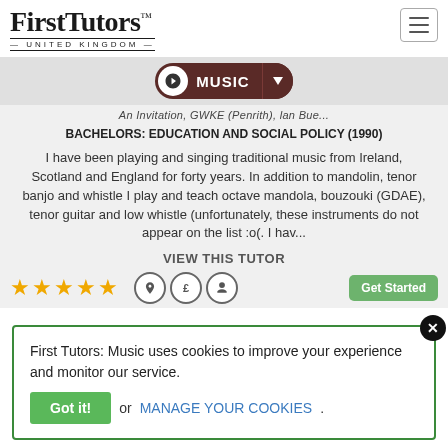FirstTutors™ UNITED KINGDOM
MUSIC
BACHELORS: EDUCATION AND SOCIAL POLICY (1990)
I have been playing and singing traditional music from Ireland, Scotland and England for forty years. In addition to mandolin, tenor banjo and whistle I play and teach octave mandola, bouzouki (GDAE), tenor guitar and low whistle (unfortunately, these instruments do not appear on the list :o(. I hav...
VIEW THIS TUTOR
First Tutors: Music uses cookies to improve your experience and monitor our service.
Got it! or MANAGE YOUR COOKIES.